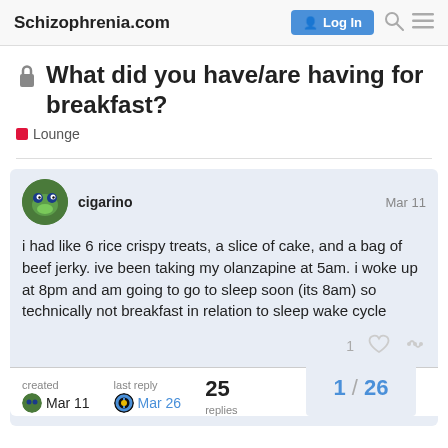Schizophrenia.com  Log In
🔒 What did you have/are having for breakfast?
Lounge
cigarino  Mar 11
i had like 6 rice crispy treats, a slice of cake, and a bag of beef jerky. ive been taking my olanzapine at 5am. i woke up at 8pm and am going to go to sleep soon (its 8am) so technically not breakfast in relation to sleep wake cycle
created  Mar 11  last reply  Mar 26  25 replies  1 / 26